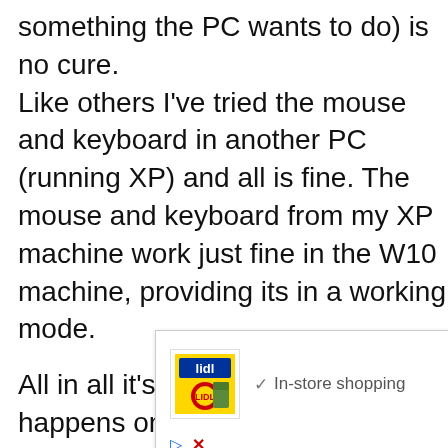hours (just in case there is something the PC wants to do) is no cure.
Like others I've tried the mouse and keyboard in another PC (running XP) and all is fine. The mouse and keyboard from my XP machine work just fine in the W10 machine, providing its in a working mode.

All in all it's just a frustration that happens once in awhile, but I
[Figure (other): Advertisement banner showing Lidl logo with 'In-store shopping' text and a blue diamond-shaped navigation arrow icon, with play and close buttons below.]